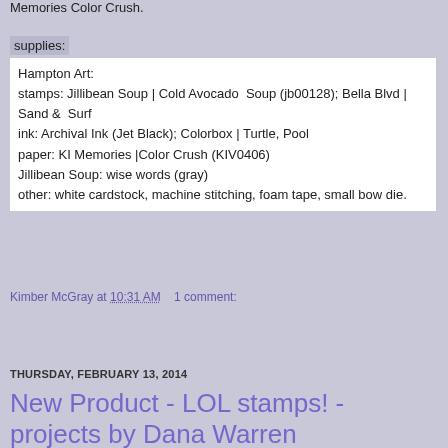Memories Color Crush.
supplies:
Hampton Art:
stamps: Jillibean Soup | Cold Avocado  Soup (jb00128); Bella Blvd | Sand &  Surf
ink: Archival Ink (Jet Black); Colorbox | Turtle, Pool
paper: KI Memories |Color Crush (KIV0406)
Jillibean Soup: wise words (gray)
other: white cardstock, machine stitching, foam tape, small bow die.
Kimber McGray at 10:31 AM   1 comment:
Share
THURSDAY, FEBRUARY 13, 2014
New Product - LOL stamps! - projects by Dana Warren